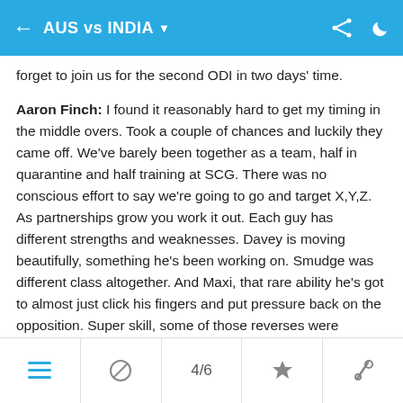AUS vs INDIA
forget to join us for the second ODI in two days' time.
Aaron Finch: I found it reasonably hard to get my timing in the middle overs. Took a couple of chances and luckily they came off. We've barely been together as a team, half in quarantine and half training at SCG. There was no conscious effort to say we're going to go and target X,Y,Z. As partnerships grow you work it out. Each guy has different strengths and weaknesses. Davey is moving beautifully, something he's been working on. Smudge was different class altogether. And Maxi, that rare ability he's got to almost just click his fingers and put pressure back on the opposition. Super skill, some of those reverses were extraordinary.
Virat Kohli: We got enough time to prepare, I don't think there's any excuses on the field when you don't pull up as a side. Probably the first long game we've played in a while, we've been playing
4/6